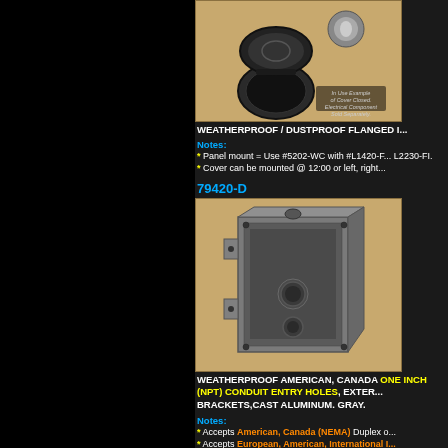[Figure (photo): Weatherproof flanged inlet product photo showing cover closed, with text 'In Use Example of Cover Closed. Electrical Component Sold Separately.']
WEATHERPROOF / DUSTPROOF FLANGED I...
Notes:
* Panel mount = Use #5202-WC with #L1420-F... L2230-FI.
* Cover can be mounted @ 12:00 or left, right...
79420-D
[Figure (photo): Weatherproof American Canada one gang cast aluminum electrical box, gray, with conduit entry holes]
WEATHERPROOF AMERICAN, CANADA ONE INCH (NPT) CONDUIT ENTRY HOLES, EXTER... BRACKETS,CAST ALUMINUM. GRAY.
Notes:
* Accepts American, Canada (NEMA) Duplex o...
* Accepts European, American, International I...
* Accepts Weatherproof IP54, European, Inter...
* Adaptor available #03015 Converts 1/2 Inch...